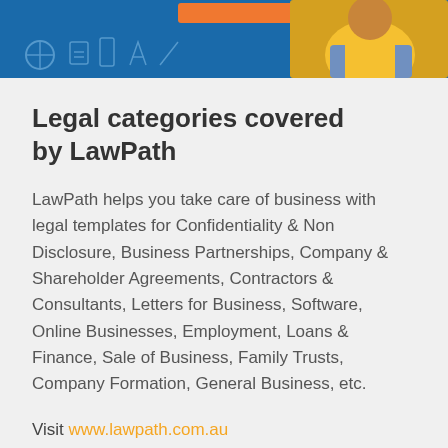[Figure (illustration): Top banner with blue background, orange rectangle bar, and a person wearing a yellow top and denim jacket on the right side, with decorative icon outlines.]
Legal categories covered by LawPath
LawPath helps you take care of business with legal templates for Confidentiality & Non Disclosure, Business Partnerships, Company & Shareholder Agreements, Contractors & Consultants, Letters for Business, Software, Online Businesses, Employment, Loans & Finance, Sale of Business, Family Trusts, Company Formation, General Business, etc.
Visit www.lawpath.com.au